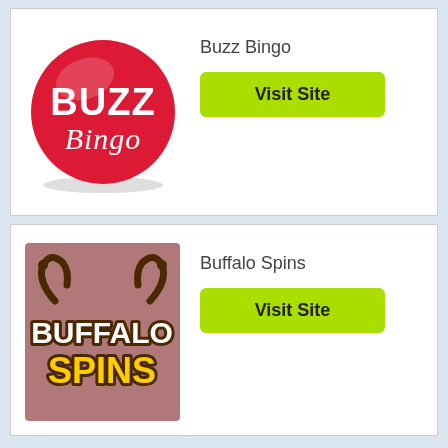[Figure (logo): Buzz Bingo logo — red circle with white text BUZZ in bold and Bingo in cursive script]
Buzz Bingo
Visit Site
[Figure (logo): Buffalo Spins logo — mauve/brown square background with white BUFFALO text with brown outline above yellow SPINS text, with buffalo horn decorations]
Buffalo Spins
Visit Site